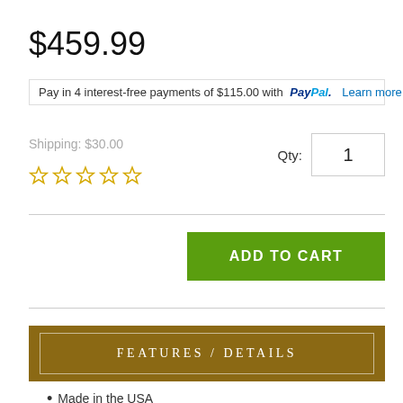$459.99
Pay in 4 interest-free payments of $115.00 with PayPal. Learn more
Shipping: $30.00
Qty: 1
[Figure (other): Five empty star rating icons in gold/yellow outline]
ADD TO CART
FEATURES / DETAILS
Made in the USA